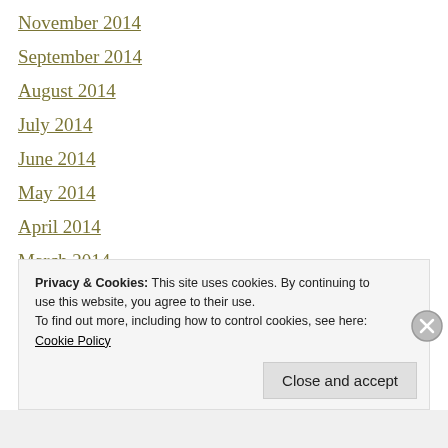November 2014
September 2014
August 2014
July 2014
June 2014
May 2014
April 2014
March 2014
February 2014
January 2014
Privacy & Cookies: This site uses cookies. By continuing to use this site, you agree to their use. To find out more, including how to control cookies, see here: Cookie Policy
Close and accept